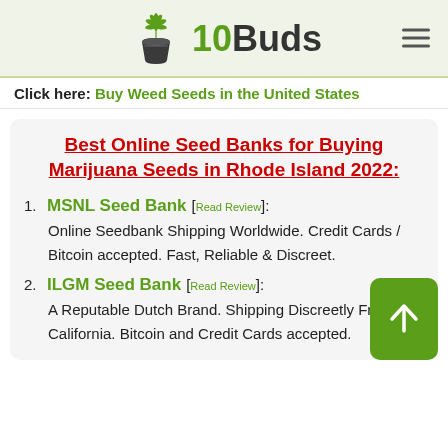10Buds
Click here: Buy Weed Seeds in the United States
Best Online Seed Banks for Buying Marijuana Seeds in Rhode Island 2022:
1. MSNL Seed Bank [Read Review]: Online Seedbank Shipping Worldwide. Credit Cards / Bitcoin accepted. Fast, Reliable & Discreet.
2. ILGM Seed Bank [Read Review]: A Reputable Dutch Brand. Shipping Discreetly From California. Bitcoin and Credit Cards accepted.